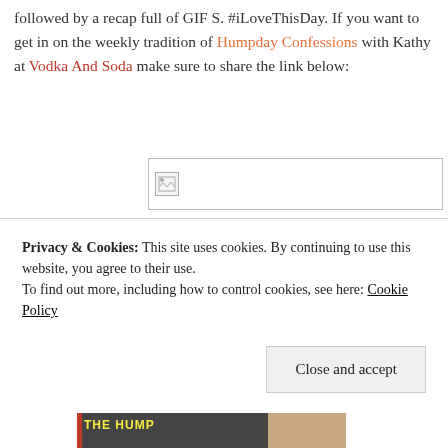followed by a recap full of GIF S. #iLoveThisDay. If you want to get in on the weekly tradition of Humpday Confessions with Kathy at Vodka And Soda make sure to share the link below:
[Figure (other): Broken image placeholder box with small broken image icon in top-left corner]
Privacy & Cookies: This site uses cookies. By continuing to use this website, you agree to their use.
To find out more, including how to control cookies, see here: Cookie Policy
Close and accept
[Figure (photo): Bottom strip showing partial image with 'THE HUMP' text in yellow on dark background and a person's face]